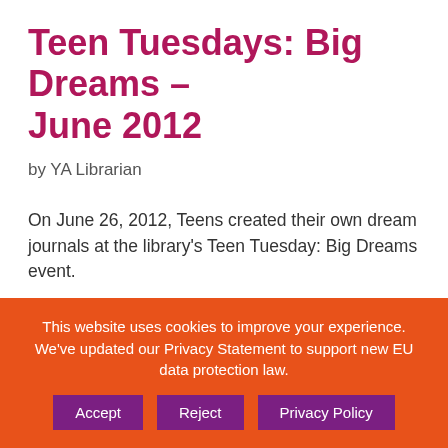Teen Tuesdays: Big Dreams – June 2012
by YA Librarian
On June 26, 2012, Teens created their own dream journals at the library's Teen Tuesday: Big Dreams event.
Photo Galleries, Teen Event Galleries 2012, YA Gallery, YA Program
activities, altered books, announcements, art
This website uses cookies to improve your experience. We've updated our Privacy Statement to support new EU data protection law. Accept  Reject  Privacy Policy